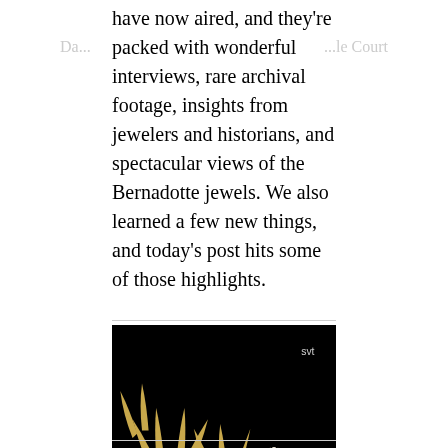have now aired, and they're packed with wonderful interviews, rare archival footage, insights from jewelers and historians, and spectacular views of the Bernadotte jewels. We also learned a few new things, and today's post hits some of those highlights.
[Figure (photo): A ornate crown/tiara photographed against a black background, featuring oval cameo portraits surrounded by pearls, gold filigree leaf work, and pearl borders. The crown is reflected in the surface below. A watermark 'svt' appears in the upper right corner.]
SVT